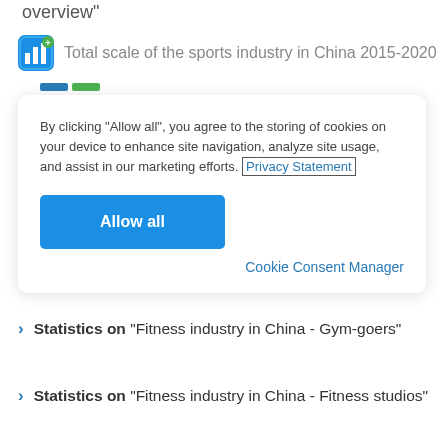overview"
Total scale of the sports industry in China 2015-2020
By clicking “Allow all”, you agree to the storing of cookies on your device to enhance site navigation, analyze site usage, and assist in our marketing efforts. Privacy Statement
Allow all
Cookie Consent Manager
Statistics on "Fitness industry in China - Gymgoers"
Statistics on "Fitness industry in China - Fitness studios"